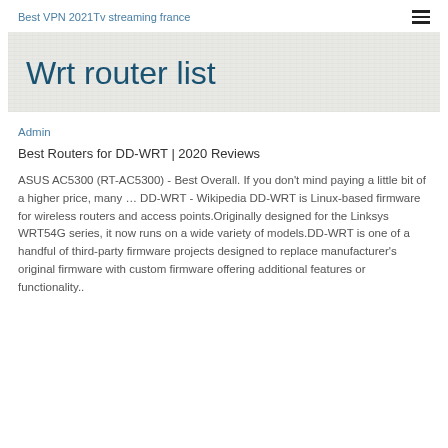Best VPN 2021Tv streaming france
Wrt router list
Admin
Best Routers for DD-WRT | 2020 Reviews
ASUS AC5300 (RT-AC5300) - Best Overall. If you don't mind paying a little bit of a higher price, many … DD-WRT - Wikipedia DD-WRT is Linux-based firmware for wireless routers and access points.Originally designed for the Linksys WRT54G series, it now runs on a wide variety of models.DD-WRT is one of a handful of third-party firmware projects designed to replace manufacturer's original firmware with custom firmware offering additional features or functionality..